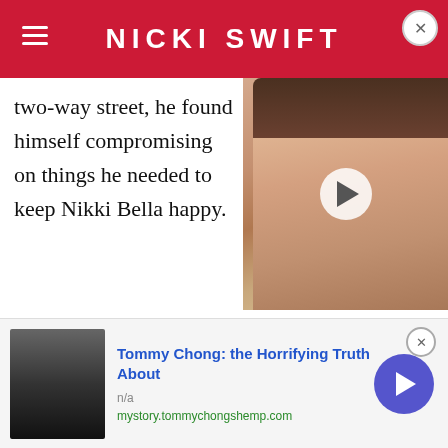NICKI SWIFT
[Figure (photo): Woman with long dark hair smiling, video thumbnail with play button overlay]
two-way street, he found himself compromising on things he needed to keep Nikki Bella happy.
"Don't ever think that love is easy. Love is beautiful, but we've had to come to the realization after being together for five years that love is not easy," Cena told Us Weekly in March 2018. "We work every day on us. We have our problems just like everybody else. Some of our problems are very public, some of them aren't. But we work every day on us. Anytime I get upset, I always
[Figure (photo): Advertisement: Tommy Chong photo, ad for tommychongshemp.com]
Tommy Chong: the Horrifying Truth About
n/a
mystory.tommychongshemp.com